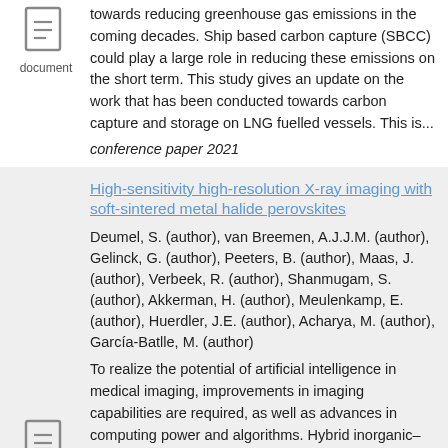[Figure (illustration): Document icon with lines representing text]
towards reducing greenhouse gas emissions in the coming decades. Ship based carbon capture (SBCC) could play a large role in reducing these emissions on the short term. This study gives an update on the work that has been conducted towards carbon capture and storage on LNG fuelled vessels. This is...
conference paper 2021
High-sensitivity high-resolution X-ray imaging with soft-sintered metal halide perovskites
Deumel, S. (author), van Breemen, A.J.J.M. (author), Gelinck, G. (author), Peeters, B. (author), Maas, J. (author), Verbeek, R. (author), Shanmugam, S. (author), Akkerman, H. (author), Meulenkamp, E. (author), Huerdler, J.E. (author), Acharya, M. (author), García-Batlle, M. (author)
To realize the potential of artificial intelligence in medical imaging, improvements in imaging capabilities are required, as well as advances in computing power and algorithms. Hybrid inorganic–organic metal halide perovskites, such as methylammonium lead triiodide (MAPbI3), offer
[Figure (illustration): Document icon with lines representing text, labeled 'document']